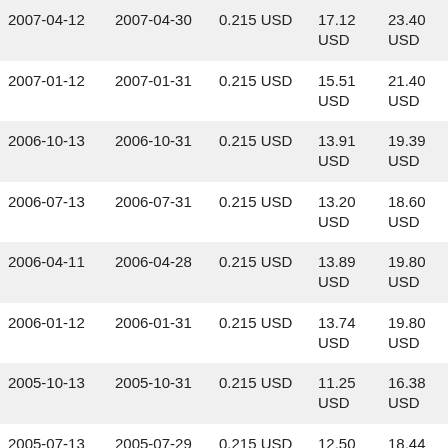| 2007-04-12 | 2007-04-30 | 0.215 USD | 17.12 USD | 23.40 USD |
| 2007-01-12 | 2007-01-31 | 0.215 USD | 15.51 USD | 21.40 USD |
| 2006-10-13 | 2006-10-31 | 0.215 USD | 13.91 USD | 19.39 USD |
| 2006-07-13 | 2006-07-31 | 0.215 USD | 13.20 USD | 18.60 USD |
| 2006-04-11 | 2006-04-28 | 0.215 USD | 13.89 USD | 19.80 USD |
| 2006-01-12 | 2006-01-31 | 0.215 USD | 13.74 USD | 19.80 USD |
| 2005-10-13 | 2005-10-31 | 0.215 USD | 11.25 USD | 16.38 USD |
| 2005-07-13 | 2005-07-29 | 0.215 USD | 12.50 USD | 18.44 USD |